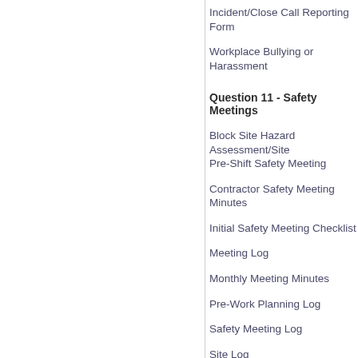Incident/Close Call Reporting Form
Workplace Bullying or Harassment
Question 11 - Safety Meetings
Block Site Hazard Assessment/Site Pre-Shift Safety Meeting
Contractor Safety Meeting Minutes
Initial Safety Meeting Checklist
Meeting Log
Monthly Meeting Minutes
Pre-Work Planning Log
Safety Meeting Log
Site Log
Tailgate Safety Meeting/Crew Talk
Questions 12 & 13 - Close Call / H
BCFSC Safety Alerts